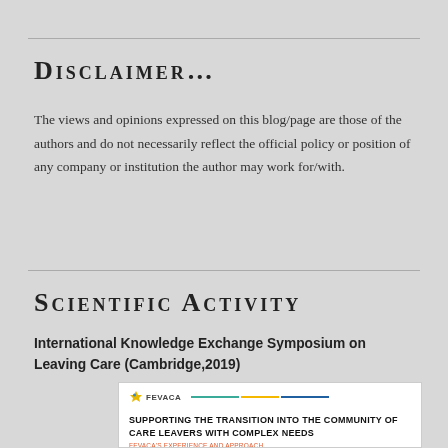Disclaimer...
The views and opinions expressed on this blog/page are those of the authors and do not necessarily reflect the official policy or position of any company or institution the author may work for/with.
Scientific Activity
International Knowledge Exchange Symposium on Leaving Care (Cambridge,2019)
[Figure (other): A conference presentation card from FEVACA titled 'Supporting the Transition into the Community of Care Leavers with Complex Needs - FEVACA's Experience and Approach' presented at the International Knowledge Exchange Symposium on Leaving Care, Anglo Ruskin University. Presenter: Miguel Valerio, BSc/MSW, FEVACA Social Worker, Social Work Senior Manager, PDH Responsible Individual.]